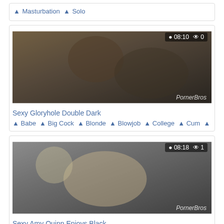Masturbation  Solo
[Figure (screenshot): Video thumbnail showing duration 08:10 and 0 views, with PornerBros watermark]
Sexy Gloryhole Double Dark
Babe  Big Cock  Blonde  Blowjob  College  Cum
[Figure (screenshot): Video thumbnail showing duration 08:18 and 1 view, with PornerBros watermark]
Sexy Amy Quinn Enjoys Black
Amateur  Anal  Big Tits